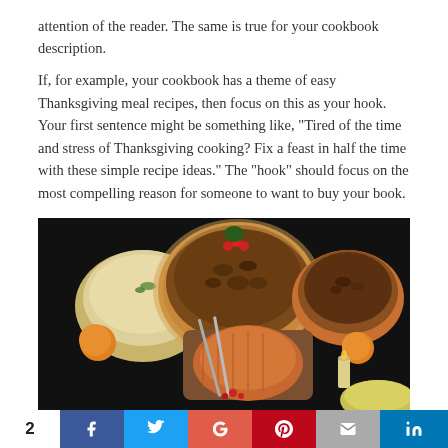attention of the reader. The same is true for your cookbook description.
If, for example, your cookbook has a theme of easy Thanksgiving meal recipes, then focus on this as your hook. Your first sentence might be something like, "Tired of the time and stress of Thanksgiving cooking? Fix a feast in half the time with these simple recipe ideas." The "hook" should focus on the most compelling reason for someone to want to buy your book.
[Figure (photo): Overhead dark-background photo of Thanksgiving food spread: a pecan pie in the center, a casserole dish with mashed potatoes on the left, a walnut pie on the right, a glazed ham roast on a wooden cutting board in the center-bottom, surrounded by oranges, cranberries, and candles.]
2